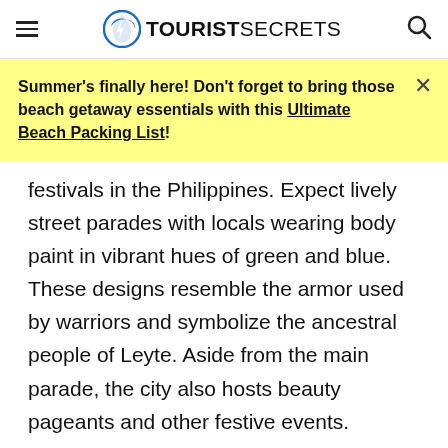TOURISTSECRETS
Summer's finally here! Don't forget to bring those beach getaway essentials with this Ultimate Beach Packing List!
festivals in the Philippines. Expect lively street parades with locals wearing body paint in vibrant hues of green and blue. These designs resemble the armor used by warriors and symbolize the ancestral people of Leyte. Aside from the main parade, the city also hosts beauty pageants and other festive events.